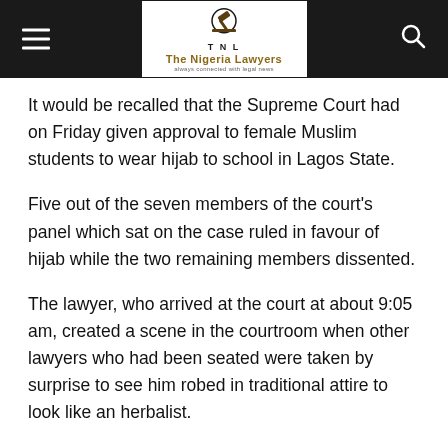The Nigeria Lawyers
It would be recalled that the Supreme Court had on Friday given approval to female Muslim students to wear hijab to school in Lagos State.
Five out of the seven members of the court's panel which sat on the case ruled in favour of hijab while the two remaining members dissented.
The lawyer, who arrived at the court at about 9:05 am, created a scene in the courtroom when other lawyers who had been seated were taken by surprise to see him robed in traditional attire to look like an herbalist.
The lawyer who gained entry into the court was barefooted